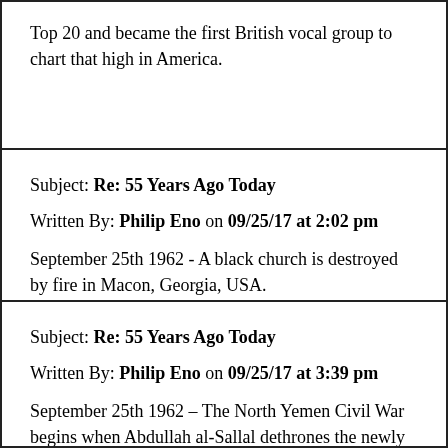Top 20 and became the first British vocal group to chart that high in America.
Subject: Re: 55 Years Ago Today
Written By: Philip Eno on 09/25/17 at 2:02 pm
September 25th 1962 - A black church is destroyed by fire in Macon, Georgia, USA.
Subject: Re: 55 Years Ago Today
Written By: Philip Eno on 09/25/17 at 3:39 pm
September 25th 1962 – The North Yemen Civil War begins when Abdullah al-Sallal dethrones the newly crowned Imam al-Badr and declares Yemen a republic